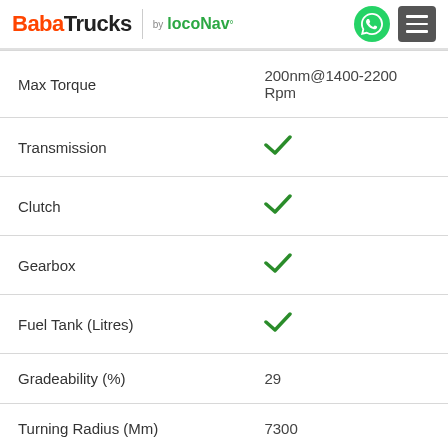BabaTrucks by LocoNav
| Specification | Value |
| --- | --- |
| Max Torque | 200nm@1400-2200 Rpm |
| Transmission | ✓ |
| Clutch | ✓ |
| Gearbox | ✓ |
| Fuel Tank (Litres) | ✓ |
| Gradeability (%) | 29 |
| Turning Radius (Mm) | 7300 |